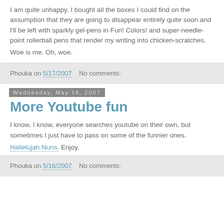I am quite unhappy. I bought all the boxes I could find on the assumption that they are going to disappear entirely quite soon and I'll be left with sparkly gel-pens in Fun! Colors! and super-needle-point rollerball pens that render my writing into chicken-scratches.
Woe is me. Oh, woe.
Phouka on 5/17/2007   No comments:
Wednesday, May 16, 2007
More Youtube fun
I know, I know, everyone searches youtube on their own, but sometimes I just have to pass on some of the funnier ones.
Hallelujah Nuns. Enjoy.
Phouka on 5/16/2007   No comments: